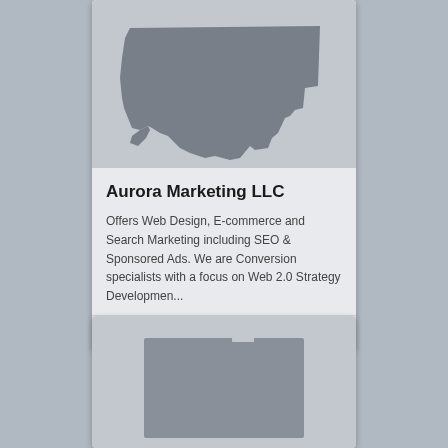[Figure (map): Map outline of Connecticut state in gray on a lighter gray background]
Aurora Marketing LLC
Offers Web Design, E-commerce and Search Marketing including SEO & Sponsored Ads. We are Conversion specialists with a focus on Web 2.0 Strategy Developmen...
SIMSBURY, CT
+3
[Figure (map): Map outline of a rectangular state (likely Colorado) in dark gray on a lighter gray background]